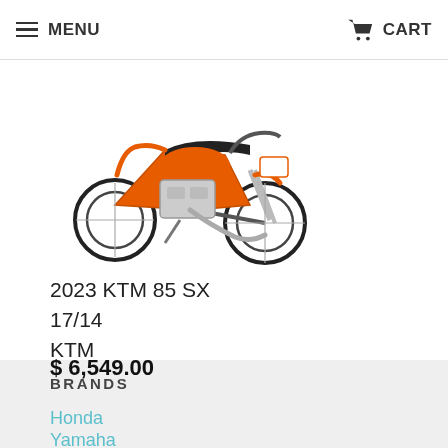MENU  CART
GasGas  KTM
$3,189.20  $7,799.09  $6,849.00
[Figure (photo): Orange and white KTM 85 SX dirt bike / motocross motorcycle, side view facing right]
2023 KTM 85 SX
17/14
KTM
$ 6,549.00
BRANDS
Honda
Yamaha